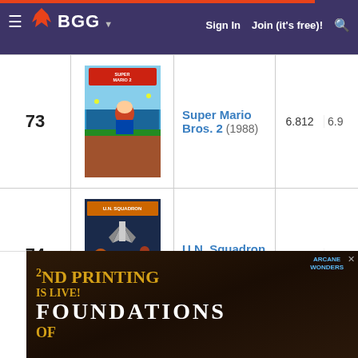BGG — Sign In | Join (it's free)!
| Rank | Image | Title | Score | Score2 |
| --- | --- | --- | --- | --- |
| 73 | [Super Mario Bros. 2 image] | Super Mario Bros. 2 (1988) | 6.812 | 6.9 |
| 74 | [U.N. Squadron image] | U.N. Squadron (1989) | 6.811 | 7.2 |
| 75 | [International Superstar Soccer Deluxe image] | International Superstar Soccer Deluxe (1995) | 6.808 | 7.5 |
[Figure (infographic): Advertisement: '2ND PRINTING IS LIVE! FOUNDATIONS OF ROME' — Arcane Wonders board game ad with golden and white text on dark background]